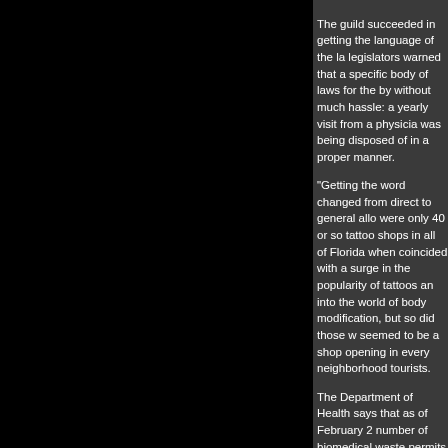The guild succeeded in getting the language of the la legislators warned that a specific body of laws for the by without much hassle: a yearly visit from a physicia was being disposed of in a proper manner.
"Getting the word changed from direct to general allo were only 40 or so tattoo shops in all of Florida when coincided with a surge in the popularity of tattoos an into the world of body modification, but so did those w seemed to be a shop opening in every neighborhood tourists.
The Department of Health says that as of February 2 number of biomedical waste permits it has issued. Th made famous by the show Miami Ink — where an em flower that would take about an hour to complete, to l such as $100 half sleeves. You can find shops that se a mobile artist who'll set up shop in your kitchen.
"The segments of the pie have gotten smaller," Hann wash... The economy, now that's forced us to look at value of what we're selling. It made us rethink a lot of
Despite the boom, the tattoo industry remained large Hollywood state Sen. Eleanor Sobel spotted a hideous story but says in an email that she was "very concern create stand-alone laws for the industry, she turned to their input, drafted a bill.
Fort Lauderdale tattoo artist Stevie Moon went berse